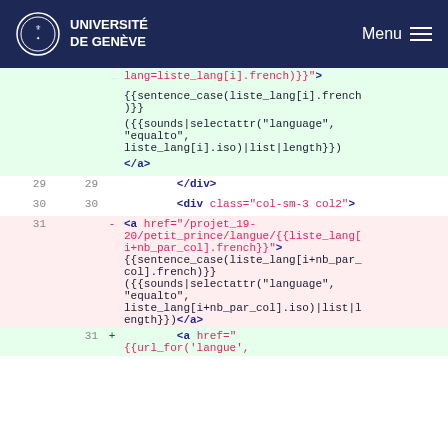UNIVERSITÉ DE GENÈVE  Menu
[Figure (screenshot): Code diff view showing HTML template code with line numbers, green added lines and red removed lines, displaying Jinja2 template syntax for language links.]